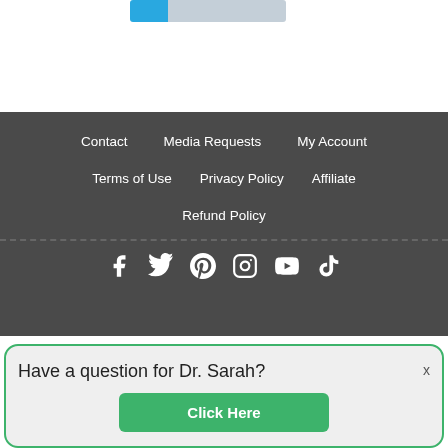[Figure (other): Partial navigation bar with blue and light gray tab/button elements at top]
Contact   Media Requests   My Account
Terms of Use   Privacy Policy   Affiliate
Refund Policy
[Figure (other): Social media icons row: Facebook, Twitter, Pinterest, Instagram, YouTube, TikTok]
Have a question for Dr. Sarah?   x
Click Here